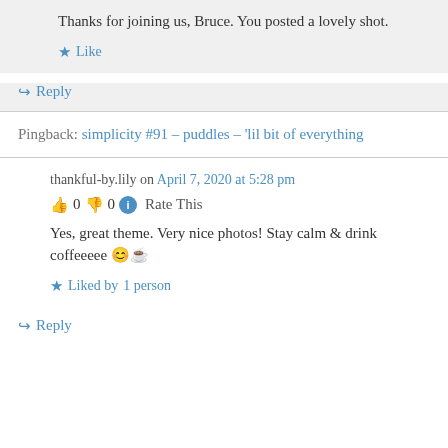Thanks for joining us, Bruce. You posted a lovely shot.
★ Like
↪ Reply
Pingback: simplicity #91 – puddles – 'lil bit of everything
thankful-by.lily on April 7, 2020 at 5:28 pm
👍 0 👎 0 ℹ Rate This
Yes, great theme. Very nice photos! Stay calm & drink coffeeeee 😊☕
★ Liked by 1 person
↪ Reply